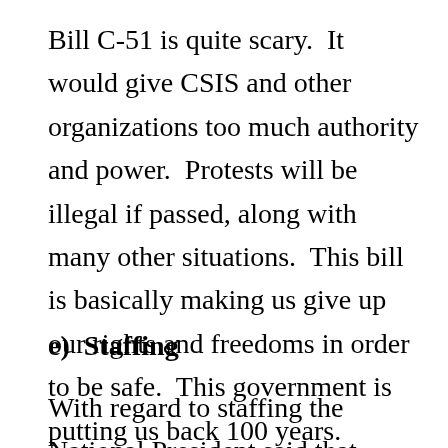Bill C-51 is quite scary.  It would give CSIS and other organizations too much authority and power.  Protests will be illegal if passed, along with many other situations.  This bill is basically making us give up our rights and freedoms in order to be safe.  This government is putting us back 100 years.
e)  Staffing
With regard to staffing the National President said that certain areas are really hurting.  Case